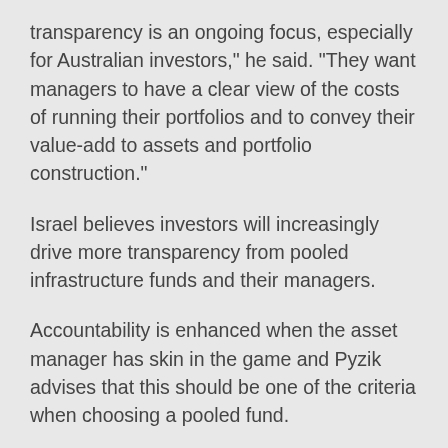transparency is an ongoing focus, especially for Australian investors,” he said. “They want managers to have a clear view of the costs of running their portfolios and to convey their value-add to assets and portfolio construction.”
Israel believes investors will increasingly drive more transparency from pooled infrastructure funds and their managers.
Accountability is enhanced when the asset manager has skin in the game and Pyzik advises that this should be one of the criteria when choosing a pooled fund.
“The manager’s interests need to be aligned with the interests of the investor,” she said. “Either the manager should have equity in the fund or the incentives for